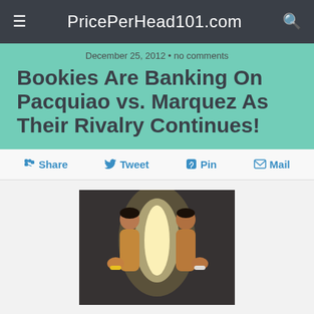PricePerHead101.com
December 25, 2012 · no comments
Bookies Are Banking On Pacquiao vs. Marquez As Their Rivalry Continues!
Share  Tweet  Pin  Mail
[Figure (photo): Two boxers (Pacquiao and Marquez) facing back to back with fists raised, dramatic lighting with a bright flash between them against a dark background]
Pacquiao & Marquez are still talking about their rivalry...